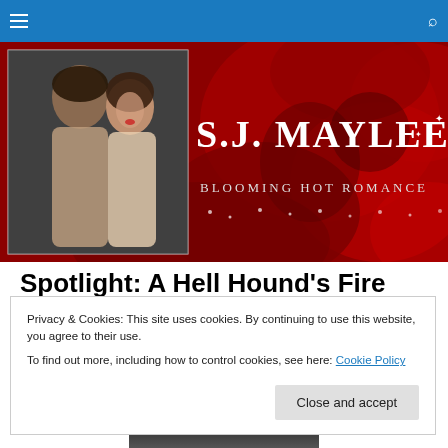Navigation bar with hamburger menu and search icon
[Figure (illustration): S.J. Maylee Blooming Hot Romance website banner with red roses background and couple photo on left]
Spotlight: A Hell Hound's Fire by Siobhan Muir
Privacy & Cookies: This site uses cookies. By continuing to use this website, you agree to their use.
To find out more, including how to control cookies, see here: Cookie Policy
Close and accept
[Figure (photo): Partial view of book cover showing a figure at bottom of page]